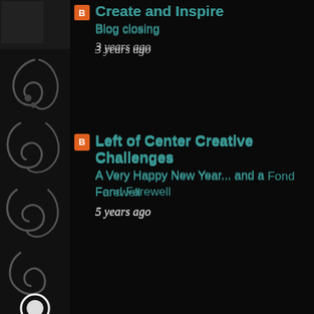[Figure (illustration): Black background with grey decorative floral/scroll pattern on the left side, approximately 100px wide]
Create and Inspire
Blog closing
3 years ago
Left of Center Creative Challenges
A Very Happy New Year... and a Fond Farewell
5 years ago
SLSlines Digital Stamps Challenge Blog
The Very Last Post!
5 years ago
Haunted Design House
The Evil Returns...